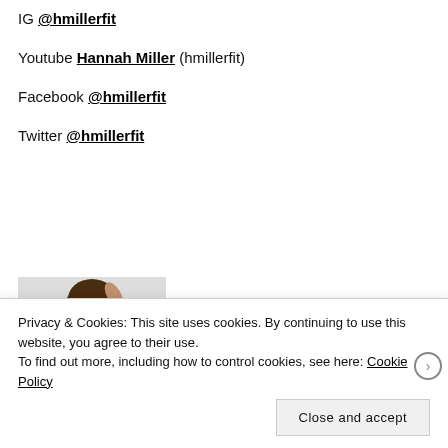IG @hmillerfit
Youtube Hannah Miller (hmillerfit)
Facebook @hmillerfit
Twitter @hmillerfit
[Figure (photo): Partial photo of a person with dark hair against a light background]
Privacy & Cookies: This site uses cookies. By continuing to use this website, you agree to their use.
To find out more, including how to control cookies, see here: Cookie Policy
Close and accept